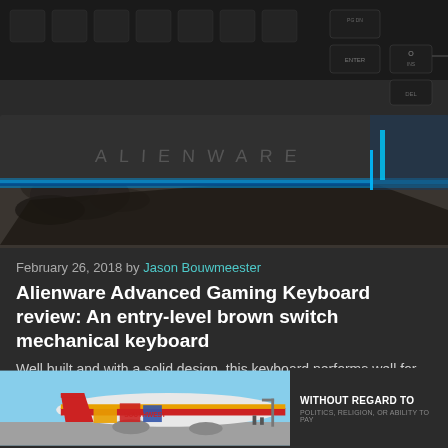[Figure (photo): Close-up photo of an Alienware gaming keyboard showing the ALIENWARE branding on the wrist rest with blue LED lighting underneath, dark keys visible at top including INS, DEL, PG DN, ENTER keys]
February 26, 2018 by Jason Bouwmeester
Alienware Advanced Gaming Keyboard review: An entry-level brown switch mechanical keyboard
Well built and with a solid design, this keyboard performs well for
[Figure (photo): Advertisement banner showing a Southwest Airlines cargo plane on a tarmac with text 'WITHOUT REGARD TO POLITICS, RELIGION, OR ABILITY TO PAY']